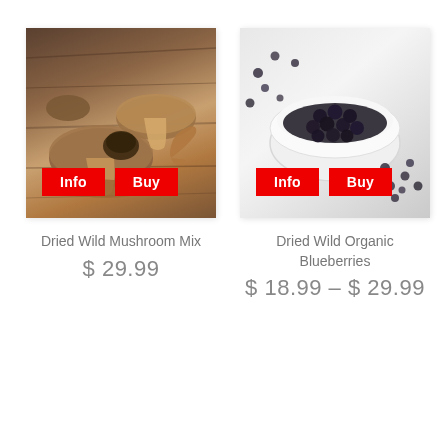[Figure (photo): Dried wild mushrooms scattered on a dark wooden surface, with Info and Buy buttons overlaid]
[Figure (photo): Dried wild organic blueberries in a white bowl on a light surface with scattered blueberries, with Info and Buy buttons overlaid]
Dried Wild Mushroom Mix
$ 29.99
Dried Wild Organic Blueberries
$ 18.99 – $ 29.99